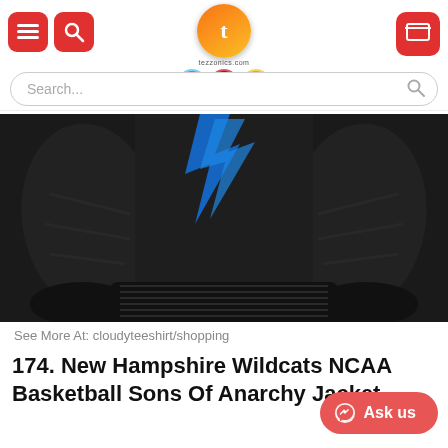[Figure (screenshot): E-commerce website header with red hamburger menu icon, red search icon, orange/gold tezzonics logo with trust badges, and red cart button on right]
[Figure (photo): Close-up of lower portion of a black leather jacket with blue graphic design elements on chest, showing sleeves and ribbed hem]
See More At: cloudyteeshirt/shopping
174. New Hampshire Wildcats NCAA Basketball Sons Of Anarchy Jacket
[Figure (other): Red pill-shaped Messenger Ask us chat button with messenger icon]